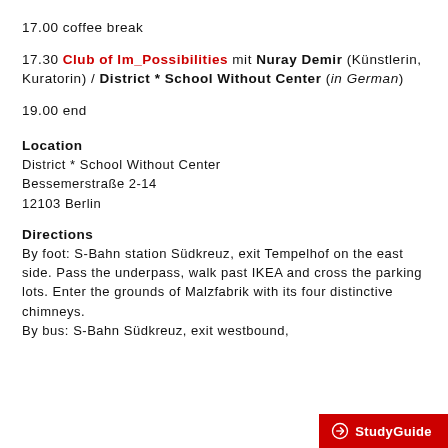17.00 coffee break
17.30 Club of Im_Possibilities mit Nuray Demir (Künstlerin, Kuratorin) / District * School Without Center (in German)
19.00 end
Location
District * School Without Center
Bessemerstraße 2-14
12103 Berlin
Directions
By foot: S-Bahn station Südkreuz, exit Tempelhof on the east side. Pass the underpass, walk past IKEA and cross the parking lots. Enter the grounds of Malzfabrik with its four distinctive chimneys.
By bus: S-Bahn Südkreuz, exit westbound,